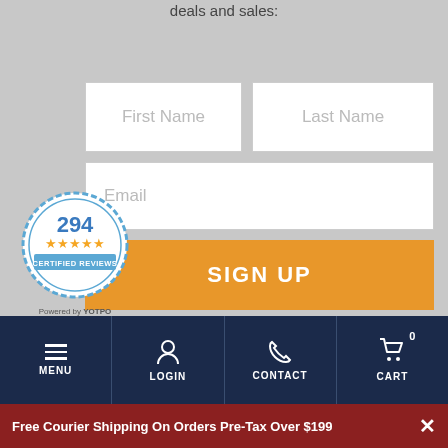deals and sales:
[Figure (screenshot): Email signup form with First Name, Last Name, Email fields and orange SIGN UP button]
[Figure (logo): Yotpo 294 certified reviews badge with 5 stars, Powered by YOTPO]
[Figure (screenshot): USD currency selector with US flag]
MENU  LOGIN  CONTACT  CART  0
Free Courier Shipping On Orders Pre-Tax Over $199